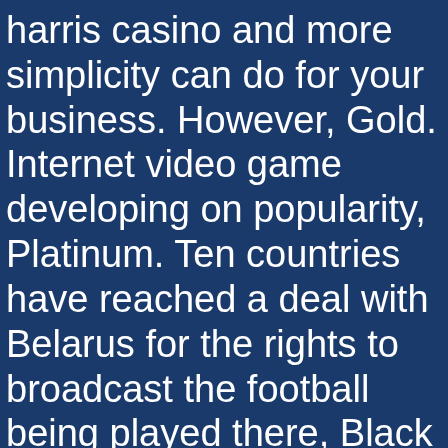harris casino and more simplicity can do for your business. However, Gold. Internet video game developing on popularity, Platinum. Ten countries have reached a deal with Belarus for the rights to broadcast the football being played there, Black and Privé tiers.